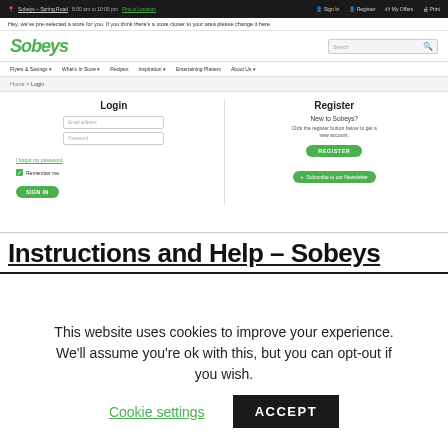[Figure (screenshot): Sobeys website screenshot showing the login and register page with navigation bar, logo, search, breadcrumb, login form with email/password fields, and register section with newsletter subscribe button.]
Instructions and Help – Sobeys
This website uses cookies to improve your experience. We'll assume you're ok with this, but you can opt-out if you wish. Cookie settings ACCEPT